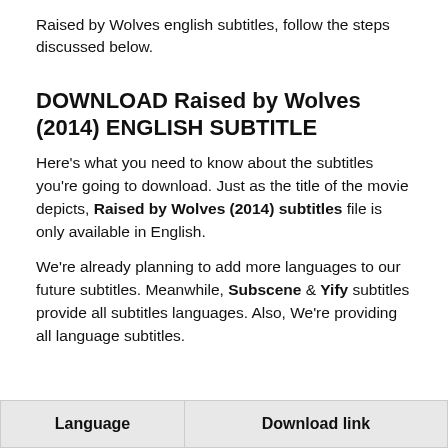Raised by Wolves english subtitles, follow the steps discussed below.
DOWNLOAD Raised by Wolves (2014) ENGLISH SUBTITLE
Here's what you need to know about the subtitles you're going to download. Just as the title of the movie depicts, Raised by Wolves (2014) subtitles file is only available in English.
We're already planning to add more languages to our future subtitles. Meanwhile, Subscene & Yify subtitles provide all subtitles languages. Also, We're providing all language subtitles.
| Language | Download link |
| --- | --- |